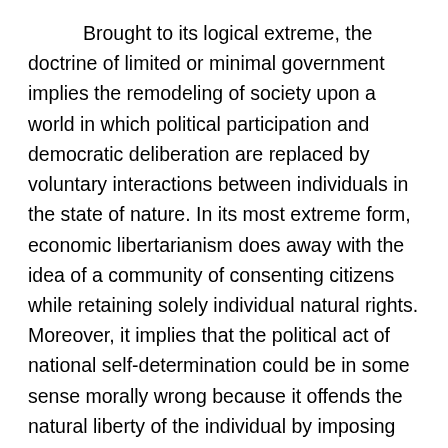Brought to its logical extreme, the doctrine of limited or minimal government implies the remodeling of society upon a world in which political participation and democratic deliberation are replaced by voluntary interactions between individuals in the state of nature. In its most extreme form, economic libertarianism does away with the idea of a community of consenting citizens while retaining solely individual natural rights. Moreover, it implies that the political act of national self-determination could be in some sense morally wrong because it offends the natural liberty of the individual by imposing laws and norms decided through a collective process.
But what is the state of nature exactly? As employed by the social contract theorists of the seventeenth and eighteenth centuries it referred to a